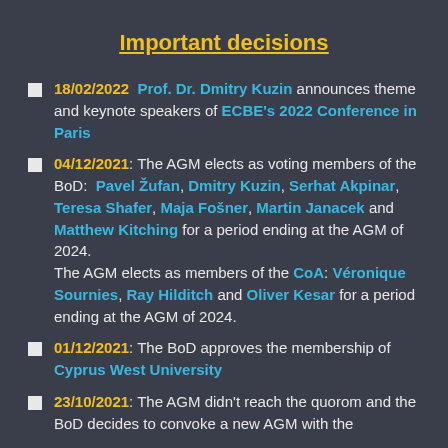Important decisions
18/02/2022  Prof. Dr. Dmitry Kuzin announces theme and keynote speakers of ECBE's 2022 Conference in Paris
04/12/2021: The AGM elects as voting members of the BoD:  Pavel Žufan, Dmitry Kuzin, Serhat Akpinar, Teresa Shafer, Maja Fošner, Martin Janacek and Matthew Kitching for a period ending at the AGM of 2024. The AGM elects as members of the CoA: Véronique Sournies, Ray Hilditch and Oliver Kesar for a period ending at the AGM of 2024.
01/12/2021: The BoD approves the membership of Cyprus West University
23/10/2021: The AGM didn't reach the quorom and the BoD decides to convoke a new AGM with the